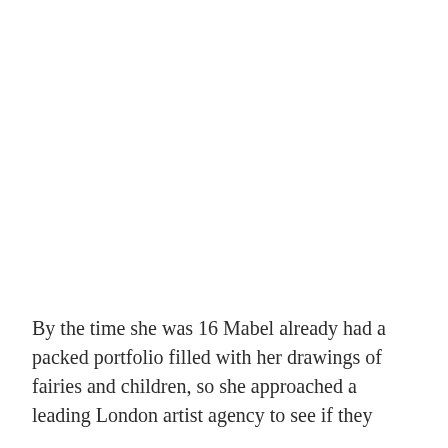By the time she was 16 Mabel already had a packed portfolio filled with her drawings of fairies and children, so she approached a leading London artist agency to see if they